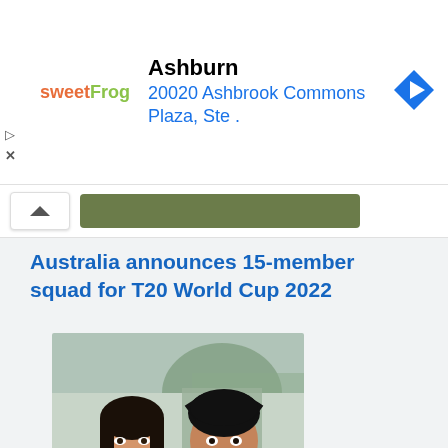[Figure (screenshot): sweetFrog frozen yogurt ad banner showing Ashburn location at 20020 Ashbrook Commons Plaza, Ste. with navigation arrow icon]
Australia announces 15-member squad for T20 World Cup 2022
[Figure (photo): Two young South Asian people, a woman in traditional dress and a man wearing a black turban, smiling and looking at something together]